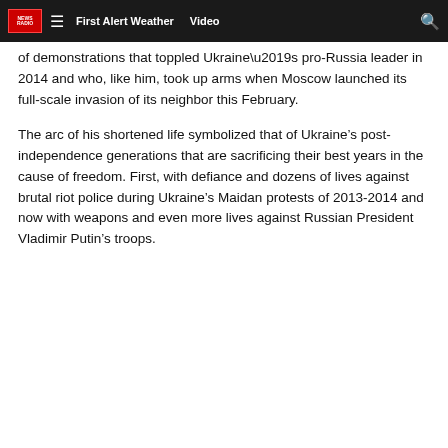First Alert Weather   Video
of demonstrations that toppled Ukraine’s pro-Russia leader in 2014 and who, like him, took up arms when Moscow launched its full-scale invasion of its neighbor this February.
The arc of his shortened life symbolized that of Ukraine’s post-independence generations that are sacrificing their best years in the cause of freedom. First, with defiance and dozens of lives against brutal riot police during Ukraine’s Maidan protests of 2013-2014 and now with weapons and even more lives against Russian President Vladimir Putin’s troops.